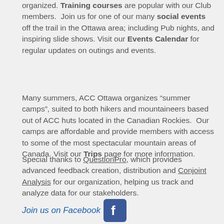organized. Training courses are popular with our Club members.  Join us for one of our many social events off the trail in the Ottawa area; including Pub nights, and inspiring slide shows. Visit our Events Calendar for regular updates on outings and events.
Many summers, ACC Ottawa organizes “summer camps”, suited to both hikers and mountaineers based out of ACC huts located in the Canadian Rockies.  Our camps are affordable and provide members with access to some of the most spectacular mountain areas of Canada. Visit our Trips page for more information.
Special thanks to QuestionPro, which provides advanced feedback creation, distribution and Conjoint Analysis for our organization, helping us track and analyze data for our stakeholders.
[Figure (logo): Join us on Facebook button with Facebook icon]